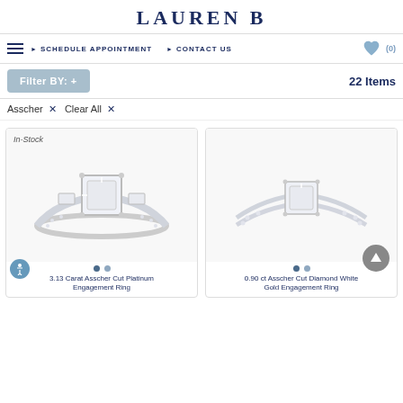LAUREN B
SCHEDULE APPOINTMENT | CONTACT US | (0)
Filter BY: +
22 Items
Asscher × Clear All ×
[Figure (photo): Diamond engagement ring with large asscher cut center stone and two baguette side stones on a pave platinum band. In-Stock badge. Carousel dots shown below.]
3.13 Carat Asscher Cut Platinum Engagement Ring
[Figure (photo): Asscher cut diamond solitaire on a double-row pave white gold band. No In-Stock badge. Up arrow button visible. Carousel dots shown below.]
0.90 ct Asscher Cut Diamond White Gold Engagement Ring